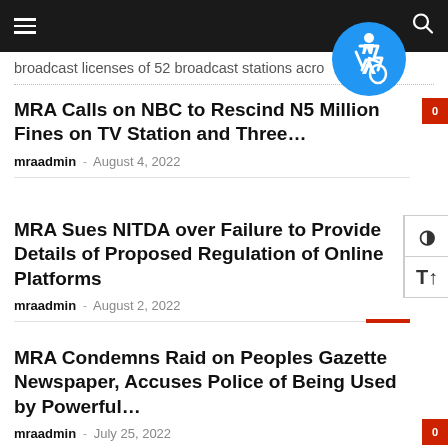≡  [search icon]
broadcast licenses of 52 broadcast stations acro…
MRA Calls on NBC to Rescind N5 Million Fines on TV Station and Three…
mraadmin - August 4, 2022
MRA Sues NITDA over Failure to Provide Details of Proposed Regulation of Online Platforms
mraadmin - August 2, 2022
MRA Condemns Raid on Peoples Gazette Newspaper, Accuses Police of Being Used by Powerful…
mraadmin - July 25, 2022